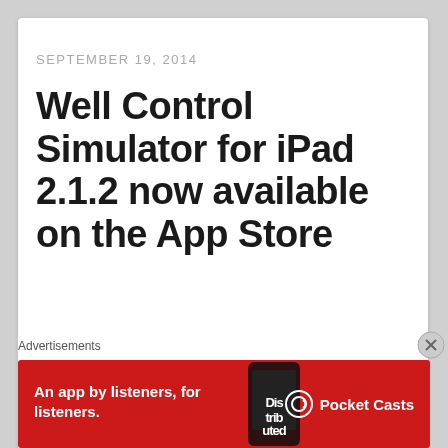SEPTEMBER 19, 2014
Well Control Simulator for iPad 2.1.2 now available on the App Store
[Figure (other): Well Control Simulator for iPad 2.1.2 app title in large red bold text with iOS 8 compatible subtitle]
iOS 8 compatible
Advertisements
[Figure (other): Pocket Casts advertisement banner: An app by listeners, for listeners. Shows phone image and Pocket Casts logo on red background.]